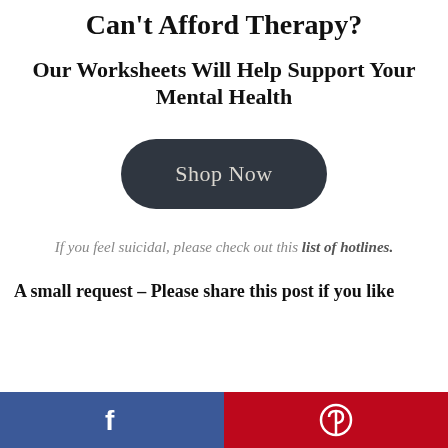Can't Afford Therapy?
Our Worksheets Will Help Support Your Mental Health
[Figure (other): Dark rounded rectangle button labeled 'Shop Now']
If you feel suicidal, please check out this list of hotlines.
A small request – Please share this post if you like
[Figure (other): Social sharing bar with Facebook (blue) and Pinterest (red) buttons]